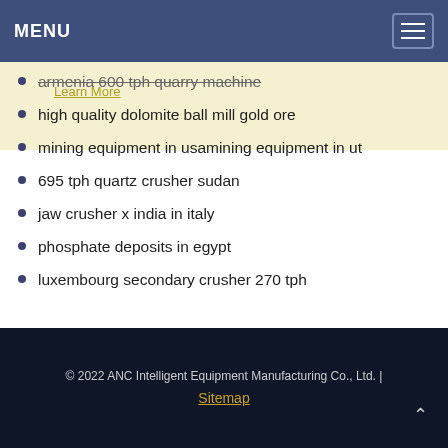MENU
armenia 600 tph quarry machine
high quality dolomite ball mill gold ore
mining equipment in usamining equipment in ut
695 tph quartz crusher sudan
jaw crusher x india in italy
phosphate deposits in egypt
luxembourg secondary crusher 270 tph
© 2022 ANC Intelligent Equipment Manufacturing Co., Ltd. | Sitemap